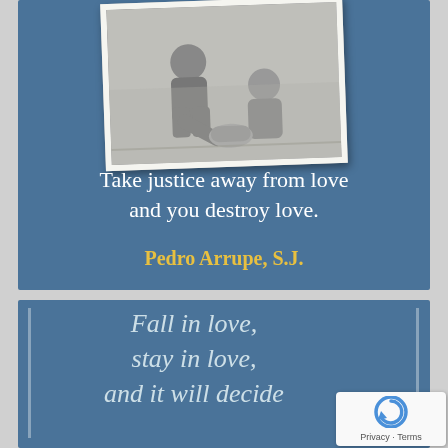[Figure (photo): Black and white vintage photograph of two people, one person assisting or tending to another person's feet or shoes, tilted slightly]
Take justice away from love and you destroy love.
Pedro Arrupe, S.J.
Fall in love, stay in love, and it will decide...